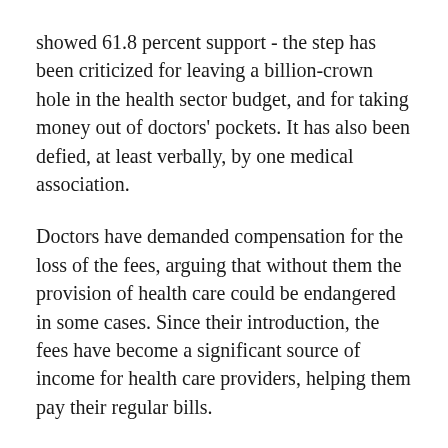showed 61.8 percent support - the step has been criticized for leaving a billion-crown hole in the health sector budget, and for taking money out of doctors' pockets. It has also been defied, at least verbally, by one medical association.
Doctors have demanded compensation for the loss of the fees, arguing that without them the provision of health care could be endangered in some cases. Since their introduction, the fees have become a significant source of income for health care providers, helping them pay their regular bills.
The government agreed to compensate doctors for the cancelled fees, but said the money would come from the existing budgets of health insurance companies.